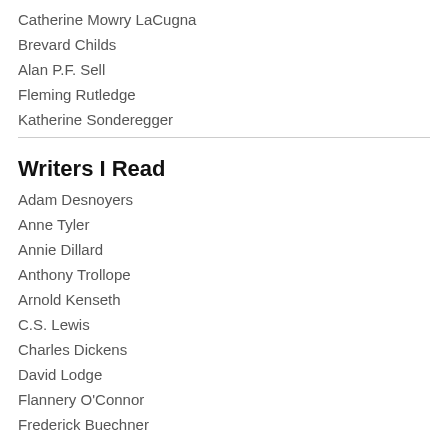Catherine Mowry LaCugna
Brevard Childs
Alan P.F. Sell
Fleming Rutledge
Katherine Sonderegger
Writers I Read
Adam Desnoyers
Anne Tyler
Annie Dillard
Anthony Trollope
Arnold Kenseth
C.S. Lewis
Charles Dickens
David Lodge
Flannery O'Connor
Frederick Buechner